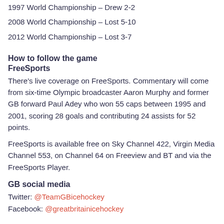1997 World Championship – Drew 2-2
2008 World Championship – Lost 5-10
2012 World Championship – Lost 3-7
How to follow the game
FreeSports
There's live coverage on FreeSports. Commentary will come from six-time Olympic broadcaster Aaron Murphy and former GB forward Paul Adey who won 55 caps between 1995 and 2001, scoring 28 goals and contributing 24 assists for 52 points.
FreeSports is available free on Sky Channel 422, Virgin Media Channel 553, on Channel 64 on Freeview and BT and via the FreeSports Player.
GB social media
Twitter: @TeamGBicehockey
Facebook: @greatbritainicehockey